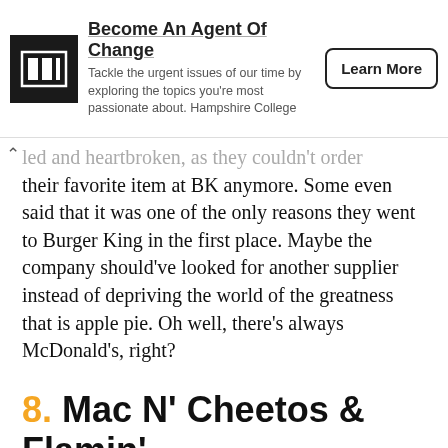[Figure (other): Advertisement banner: Hampshire College 'Become An Agent Of Change' ad with logo, description text, and Learn More button]
...led and heartbroken, as they couldn't order their favorite item at BK anymore. Some even said that it was one of the only reasons they went to Burger King in the first place. Maybe the company should've looked for another supplier instead of depriving the world of the greatness that is apple pie. Oh well, there's always McDonald's, right?
8. Mac N' Cheetos & Flamin' Hot Mac N' Cheetos
When Burger King came up with Mac N' Cheetos in June of 2016, people went wild! The combination of two of the most iconic comfort foods was bound to